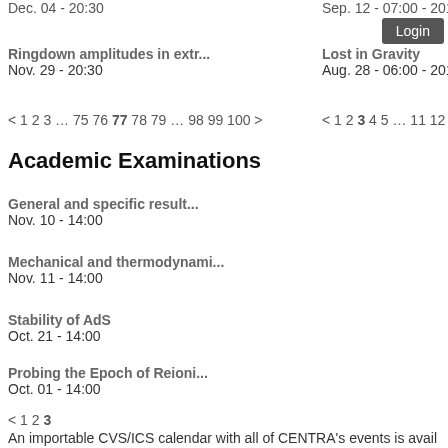Dec. 04 - 20:30
Sep. 12 - 07:00 - 2019 - 07:00
Login
Ringdown amplitudes in extr...
Nov. 29 - 20:30
Lost in Gravity
Aug. 28 - 06:00 - 2019 - 06:0
< 1 2 3 … 75 76 77 78 79 … 98 99 100 >
< 1 2 3 4 5 … 11 12 13 >
Academic Examinations
General and specific result...
Nov. 10 - 14:00
Mechanical and thermodynami...
Nov. 11 - 14:00
Stability of AdS
Oct. 21 - 14:00
Probing the Epoch of Reioni...
Oct. 01 - 14:00
< 1 2 3
An importable CVS/ICS calendar with all of CENTRA's events is avail